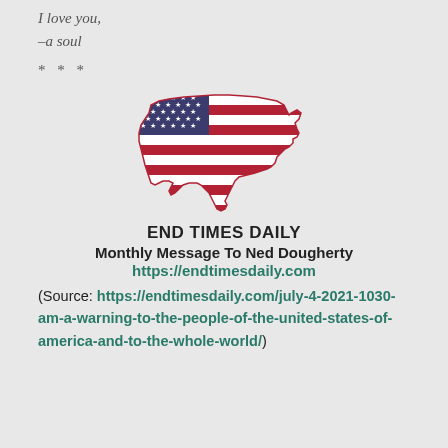I love you,
–a soul
* * *
[Figure (illustration): Silhouette of the contiguous United States filled with the American flag pattern (stars and stripes in red, white, and blue).]
END TIMES DAILY
Monthly Message To Ned Dougherty
https://endtimesdaily.com
(Source: https://endtimesdaily.com/july-4-2021-1030-am-a-warning-to-the-people-of-the-united-states-of-america-and-to-the-whole-world/)